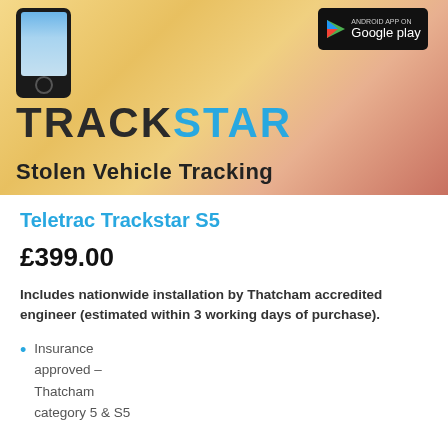[Figure (photo): Trackstar promotional banner showing a smartphone, Google Play badge, the TRACKSTAR logo (with blue STAR), and 'Stolen Vehicle Tracking' subtitle on a warm gradient background]
Teletrac Trackstar S5
£399.00
Includes nationwide installation by Thatcham accredited engineer (estimated within 3 working days of purchase).
Insurance approved – Thatcham category 5 & S5